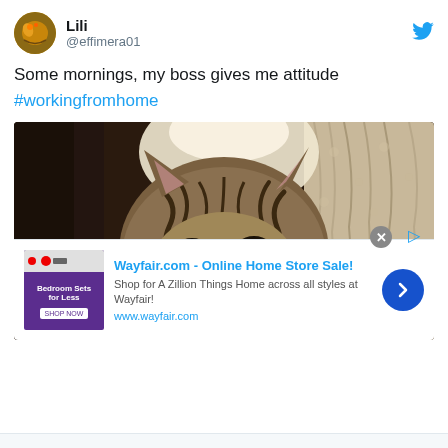Lili @effimera01
Some mornings, my boss gives me attitude
#workingfromhome
[Figure (photo): Close-up photo of a tabby cat staring directly at camera, with large dark eyes, pointed ears, and striped markings, white object visible in lower portion, curtains in background]
Wayfair.com - Online Home Store Sale!
Shop for A Zillion Things Home across all styles at Wayfair!
www.wayfair.com